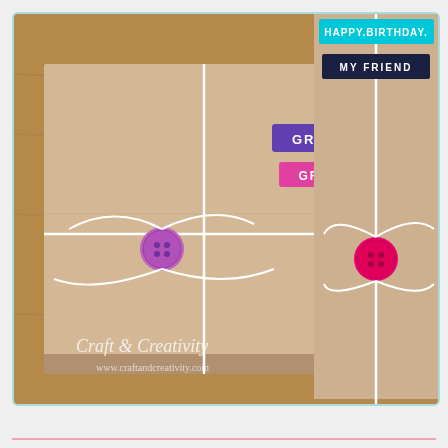[Figure (photo): Two kraft paper-wrapped gifts tied with white string and buttons as closures on a wooden surface. Left gift is a flat rectangular package with a purple label reading 'GRATTIS' and a pink label reading 'GRETA', tied with white string and a purple button. Right gift is a tall cylindrical/rectangular package with a cyan label reading 'HAPPY BIRTHDAY.' and a dark navy label reading 'MY FRIEND', tied with white string and a hot pink button. Watermark text 'Craft & Creativity' and 'www.craftandcreativity.com' appears at lower left. Image has a light teal border.]